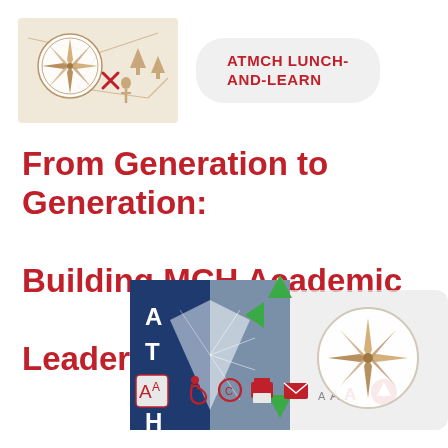[Figure (photo): Compass and map with X marks and tree icons on a beige background]
ATMCH LUNCH-AND-LEARN
From Generation to Generation: Building MCH Academic Leadership
[Figure (logo): ATMCH logo with dark blue and grey open book design, green arrows, accessibility and other icons, compass in a magnifying glass circle]